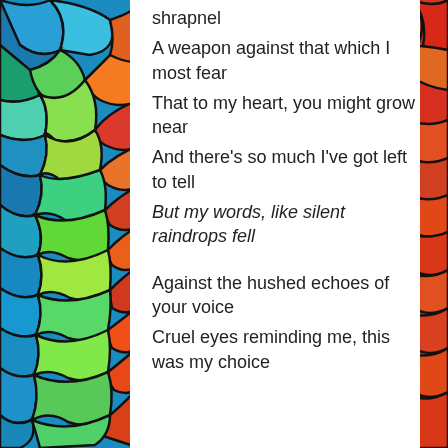[Figure (illustration): Colorful stained-glass style mosaic artwork on the left side and right side of the page, with bright blues, greens, oranges, and reds forming abstract cell-like shapes with dark outlines.]
shrapnel
A weapon against that which I most fear
That to my heart, you might grow near
And there's so much I've got left to tell
But my words, like silent raindrops fell

Against the hushed echoes of your voice
Cruel eyes reminding me, this was my choice